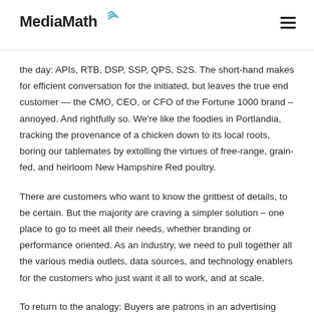MediaMath
the day: APIs, RTB, DSP, SSP, QPS, S2S. The short-hand makes for efficient conversation for the initiated, but leaves the true end customer — the CMO, CEO, or CFO of the Fortune 1000 brand – annoyed. And rightfully so. We're like the foodies in Portlandia, tracking the provenance of a chicken down to its local roots, boring our tablemates by extolling the virtues of free-range, grain-fed, and heirloom New Hampshire Red poultry.
There are customers who want to know the grittiest of details, to be certain. But the majority are craving a simpler solution – one place to go to meet all their needs, whether branding or performance oriented. As an industry, we need to pull together all the various media outlets, data sources, and technology enablers for the customers who just want it all to work, and at scale.
To return to the analogy: Buyers are patrons in an advertising